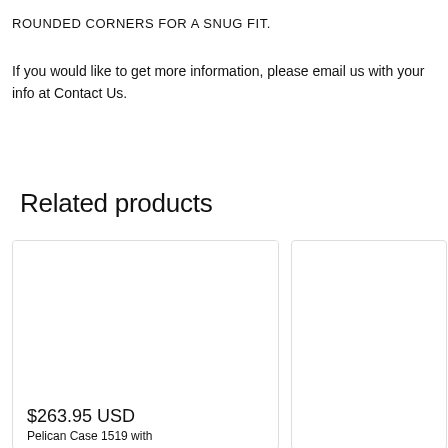ROUNDED CORNERS FOR A SNUG FIT.
If you would like to get more information, please email us with your info at Contact Us.
Related products
[Figure (other): Product card for item priced at $263.95 USD with partially visible name starting 'Pelican Case 1519 with']
[Figure (other): Second product card, partially visible, no price or name shown]